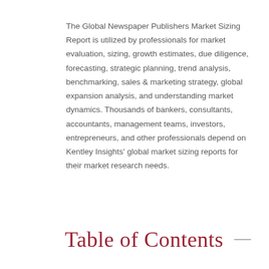The Global Newspaper Publishers Market Sizing Report is utilized by professionals for market evaluation, sizing, growth estimates, due diligence, forecasting, strategic planning, trend analysis, benchmarking, sales & marketing strategy, global expansion analysis, and understanding market dynamics. Thousands of bankers, consultants, accountants, management teams, investors, entrepreneurs, and other professionals depend on Kentley Insights' global market sizing reports for their market research needs.
Table of Contents